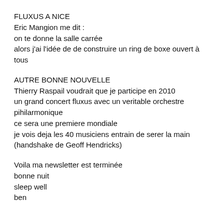FLUXUS A NICE
Eric Mangion me dit :
on te donne la salle carrée
alors j'ai l'idée de de construire un ring de boxe ouvert à tous
AUTRE BONNE NOUVELLE
Thierry Raspail voudrait que je participe en 2010
un grand concert fluxus avec un veritable orchestre pihilarmonique
ce sera une premiere mondiale
je vois deja les 40 musiciens entrain de serer la main
(handshake de Geoff Hendricks)
Voila ma newsletter est terminée
bonne nuit
sleep well
ben